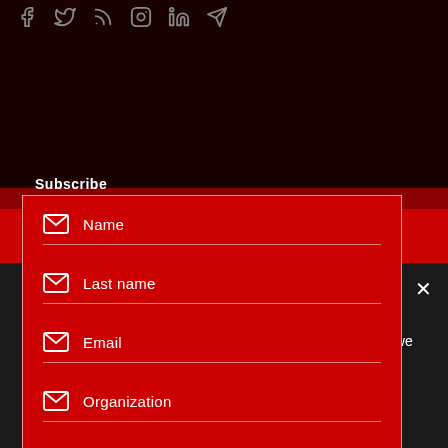[Figure (screenshot): Social media icons row: Facebook, Twitter, RSS, Instagram, LinkedIn, Telegram — grey icons on dark background]
Subscribe
[Figure (infographic): Red subscription form with four fields: Name, Last name, Email, Organization — each with envelope icon, white text on red background, bordered box, and a white arrow submit button]
[Figure (logo): INSTYTUT logo — white square icon with red symbol and white bold INSTYTUT text on red background]
We use cookies to ensure that we give you the best experience on our website. If you continue to use this site we will assume that you are happy with it.
Ok